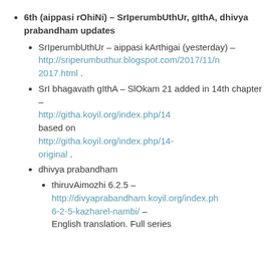6th (aippasi rOhiNi) – SrIperumbUthUr, gIthA, dhivya prabandham updates
SrIperumbUthUr – aippasi kArthigai (yesterday) – http://sriperumbuthur.blogspot.com/2017/11/n 2017.html .
SrI bhagavath gIthA – SlOkam 21 added in 14th chapter – http://githa.koyil.org/index.php/14 based on http://githa.koyil.org/index.php/14-original .
dhivya prabandham
thiruvAimozhi 6.2.5 – http://divyaprabandham.koyil.org/index.ph 6-2-5-kazharel-nambi/ – English translation. Full series